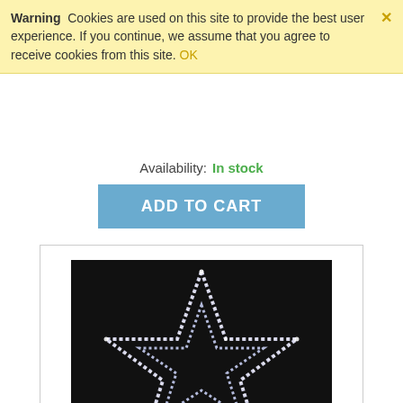Warning  Cookies are used on this site to provide the best user experience. If you continue, we assume that you agree to receive cookies from this site. OK
Availability:  In stock
ADD TO CART
[Figure (photo): Double star LED rope light decoration on black background showing two concentric star outlines made of white LED rope lights.]
Double Star Led Rope Light 72 LED Cool White
CODE:   X2STARLEDW55